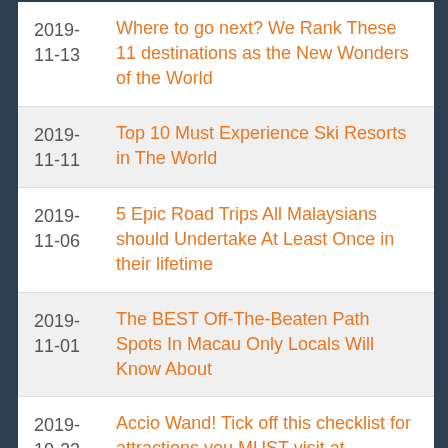2019-11-13 Where to go next? We Rank These 11 destinations as the New Wonders of the World
2019-11-11 Top 10 Must Experience Ski Resorts in The World
2019-11-06 5 Epic Road Trips All Malaysians should Undertake At Least Once in their lifetime
2019-11-01 The BEST Off-The-Beaten Path Spots In Macau Only Locals Will Know About
2019-10-23 Accio Wand! Tick off this checklist for attractions you MUST visit at